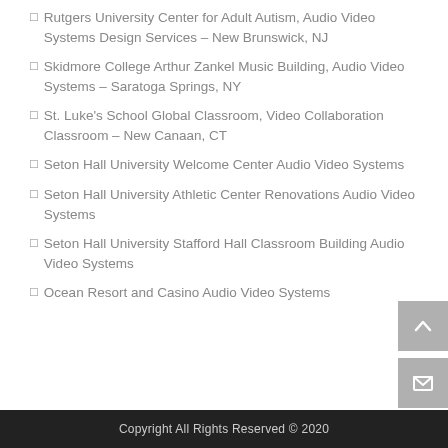Rutgers University Center for Adult Autism, Audio Video Systems Design Services – New Brunswick, NJ
Skidmore College Arthur Zankel Music Building, Audio Video Systems – Saratoga Springs, NY
St. Luke's School Global Classroom, Video Collaboration Classroom – New Canaan, CT
Seton Hall University Welcome Center Audio Video Systems
Seton Hall University Athletic Center Renovations Audio Video Systems
Seton Hall University Stafford Hall Classroom Building Audio Video Systems
Ocean Resort and Casino Audio Video Systems
Copyright All Rights Reserved © 2020